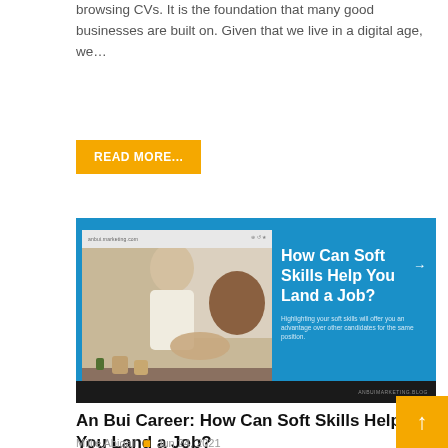browsing CVs. It is the foundation that many good businesses are built on. Given that we live in a digital age, we…
READ MORE...
[Figure (photo): Blog post featured image showing two people shaking hands in an office setting, with text overlay on blue background reading 'How Can Soft Skills Help You Land a Job?' and subtitle 'Highlighting your soft skills will offer you an advantage over other candidates for the same position.']
An Bui Career: How Can Soft Skills Help You Land a Job?
Millie Abigail  •  Jun 24, 2021